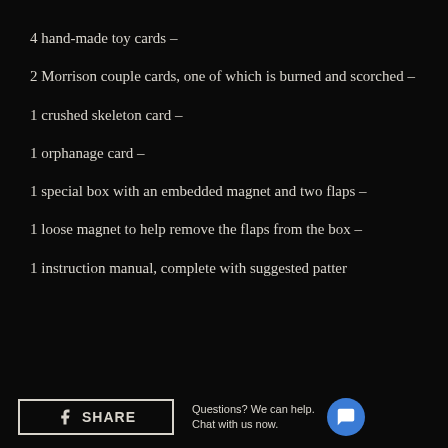4 hand-made toy cards –
2 Morrison couple cards, one of which is burned and scorched –
1 crushed skeleton card –
1 orphanage card –
1 special box with an embedded magnet and two flaps –
1 loose magnet to help remove the flaps from the box –
1 instruction manual, complete with suggested patter
Questions? We can help.
Chat with us now.